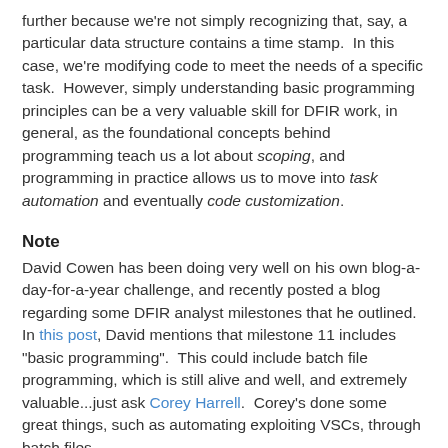further because we're not simply recognizing that, say, a particular data structure contains a time stamp.  In this case, we're modifying code to meet the needs of a specific task.  However, simply understanding basic programming principles can be a very valuable skill for DFIR work, in general, as the foundational concepts behind programming teach us a lot about scoping, and programming in practice allows us to move into task automation and eventually code customization.
Note
David Cowen has been doing very well on his own blog-a-day-for-a-year challenge, and recently posted a blog regarding some DFIR analyst milestones that he outlined. In this post, David mentions that milestone 11 includes "basic programming".  This could include batch file programming, which is still alive and well, and extremely valuable...just ask Corey Harrell.  Corey's done some great things, such as automating exploiting VSCs, through batch files.
Scoping
My programming background goes back to the early '80s.